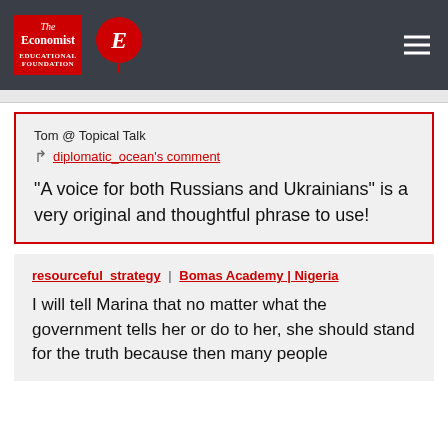The Economist Educational Foundation
Tom @ Topical Talk
diplopmatic_ocean's comment
"A voice for both Russians and Ukrainians" is a very original and thoughtful phrase to use!
resourceful_strategy | Bomas Academy | Nigeria
I will tell Marina that no matter what the government tells her or do to her, she should stand for the truth because then many people